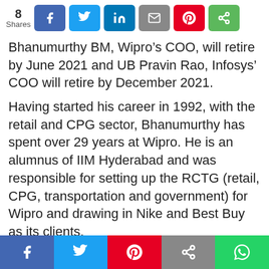[Figure (infographic): Social share bar showing 8 shares count and buttons for Facebook, Twitter, LinkedIn, Email, Pinterest, and share icon]
Bhanumurthy BM, Wipro’s COO, will retire by June 2021 and UB Pravin Rao, Infosys’ COO will retire by December 2021.
Having started his career in 1992, with the retail and CPG sector, Bhanumurthy has spent over 29 years at Wipro. He is an alumnus of IIM Hyderabad and was responsible for setting up the RCTG (retail, CPG, transportation and government) for Wipro and drawing in Nike and Best Buy as its clients.
[Figure (infographic): Bottom social share bar with Facebook, Twitter, Pinterest, Share, and WhatsApp buttons]